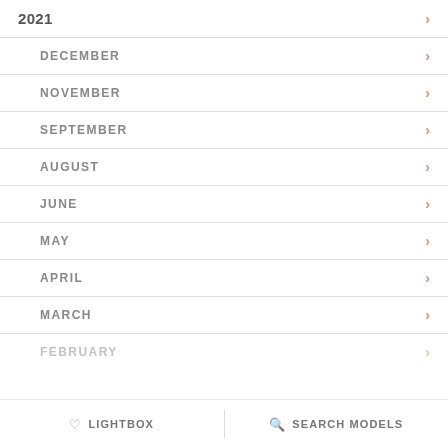2021
DECEMBER
NOVEMBER
SEPTEMBER
AUGUST
JUNE
MAY
APRIL
MARCH
FEBRUARY
LIGHTBOX   SEARCH MODELS